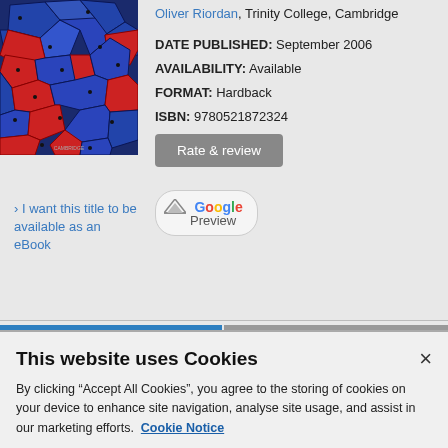[Figure (illustration): Book cover with red and blue tessellated polygon pattern on a dark background]
Oliver Riordan, Trinity College, Cambridge
DATE PUBLISHED: September 2006
AVAILABILITY: Available
FORMAT: Hardback
ISBN: 9780521872324
Rate & review
[Figure (logo): Google Preview button with book icon]
I want this title to be available as an eBook
Add to cart
Add to wishlist
Looking for an inspection copy? This title is not currently available on inspection
This website uses Cookies
By clicking "Accept All Cookies", you agree to the storing of cookies on your device to enhance site navigation, analyse site usage, and assist in our marketing efforts.  Cookie Notice